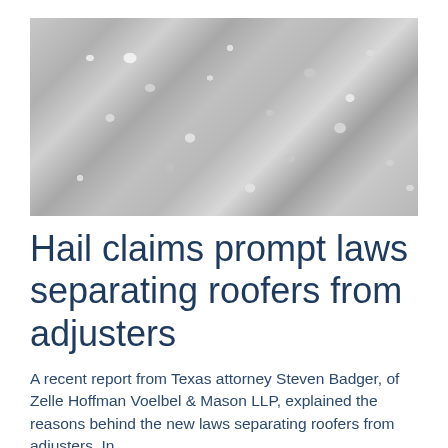[Figure (photo): Close-up photograph of hailstones, grey and white pellets of ice scattered together, blurred background]
Hail claims prompt laws separating roofers from adjusters
A recent report from Texas attorney Steven Badger, of Zelle Hoffman Voelbel & Mason LLP, explained the reasons behind the new laws separating roofers from adjusters. In